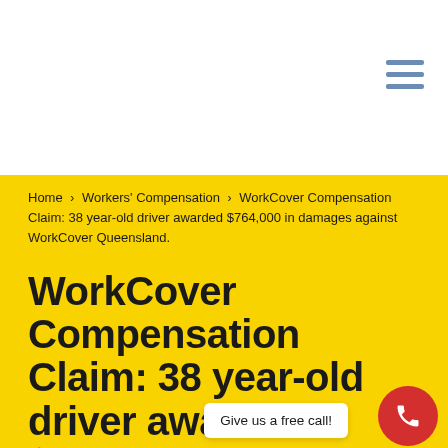Home > Workers' Compensation > WorkCover Compensation Claim: 38 year-old driver awarded $764,000 in damages against WorkCover Queensland.
WorkCover Compensation Claim: 38 year-old driver awarded $764,000 in damages against WorkCover Queensland.